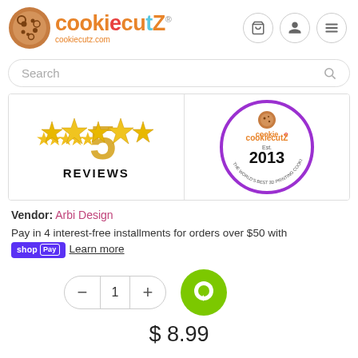[Figure (logo): CookieCutZ logo with cookie icon and brand name in orange/teal/red colors, cookiecutz.com URL]
Search
[Figure (illustration): Left panel: 5 golden stars with '50' and REVIEWS text. Right panel: CookieCutZ Est. 2013 circular badge logo.]
Vendor: Arbi Design
Pay in 4 interest-free installments for orders over $50 with shop Pay Learn more
1
$8.99